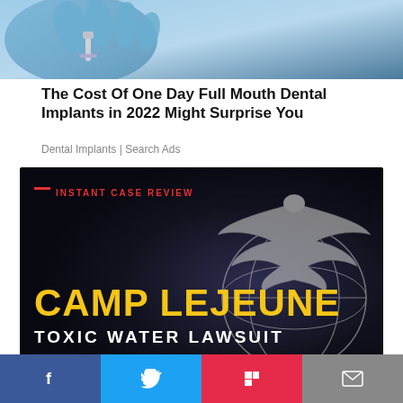[Figure (photo): Close-up of a gloved hand holding a dental implant, blue surgical glove]
The Cost Of One Day Full Mouth Dental Implants in 2022 Might Surprise You
Dental Implants | Search Ads
[Figure (photo): Camp Lejeune Toxic Water Lawsuit advertisement with dark background, USMC eagle globe and anchor emblem, yellow CAMP LEJEUNE text, white TOXIC WATER LAWSUIT text, and red INSTANT CASE REVIEW header]
Camp Lejeune Water Contamination Claims
[Figure (infographic): Social share bar with Facebook, Twitter, Flipboard, and email icons]